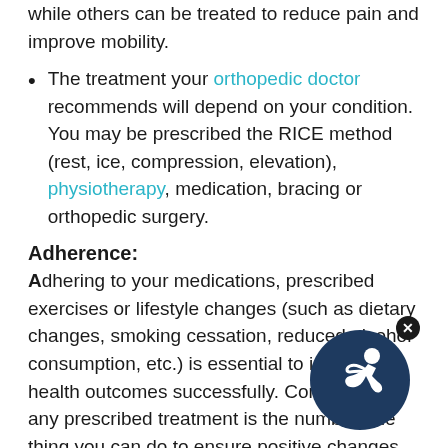while others can be treated to reduce pain and improve mobility.
The treatment your orthopedic doctor recommends will depend on your condition. You may be prescribed the RICE method (rest, ice, compression, elevation), physiotherapy, medication, bracing or orthopedic surgery.
Adherence:
Adhering to your medications, prescribed exercises or lifestyle changes (such as dietary changes, smoking cessation, reduced alcohol consumption, etc.) is essential to improving health outcomes successfully. Compliance to any prescribed treatment is the number one thing you can do to ensure positive changes and optimal treatment o...
An orthopedic surgeon is a surgeon who h... additional training in the diagnosis and treatment of bone and skeleton-related problems. An orthopedic surgeon may provide more general care or specialize...
[Figure (logo): A circular dark navy blue logo with a stylized white figure in motion, representing an orthopedic/sports medicine brand.]